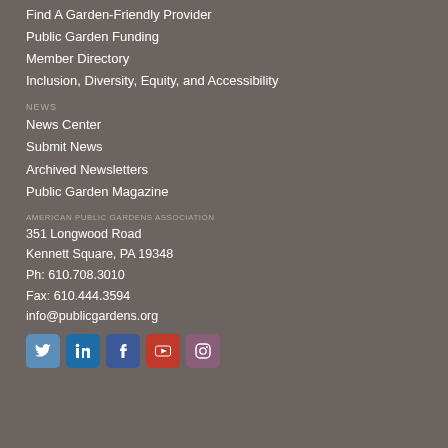Find A Garden-Friendly Provider
Public Garden Funding
Member Directory
Inclusion, Diversity, Equity, and Accessibility
NEWS
News Center
Submit News
Archived Newsletters
Public Garden Magazine
AMERICAN PUBLIC GARDENS ASSOCIATION
351 Longwood Road
Kennett Square, PA 19348
Ph: 610.708.3010
Fax: 610.444.3594
info@publicgardens.org
[Figure (illustration): Social media icons for Twitter, LinkedIn, Facebook, YouTube, and Instagram]